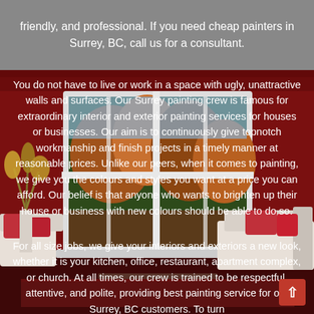friendly, and professional. If you need cheap painters in Surrey, BC, call us for a consultant.
[Figure (illustration): Illustrated interior room with dark red walls, white window with autumn trees view, sofa with red pillows, and decorative plant]
You do not have to live or work in a space with ugly, unattractive walls and surfaces. Our Surrey painting crew is famous for extraordinary interior and exterior painting services for houses or businesses. Our aim is to continuously give topnotch workmanship and finish projects in a timely manner at reasonable prices. Unlike our peers, when it comes to painting, we give you the colours and styles you want at a price you can afford. Our belief is that anyone who wants to brighten up their house or business with new colours should be able to do so.
For all size jobs, we give your interiors and exteriors a new look, whether it is your kitchen, office, restaurant, apartment complex, or church. At all times, our crew is trained to be respectful, attentive, and polite, providing best painting service for our Surrey, BC customers. To turn